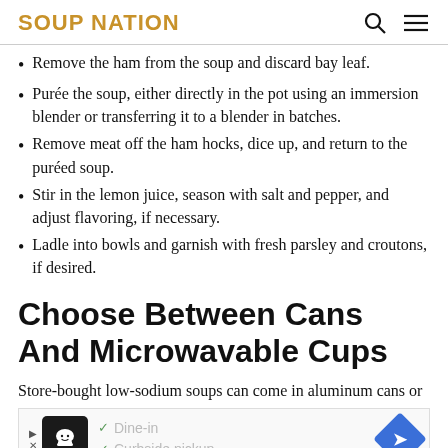SOUP NATION
Remove the ham from the soup and discard bay leaf.
Purée the soup, either directly in the pot using an immersion blender or transferring it to a blender in batches.
Remove meat off the ham hocks, dice up, and return to the puréed soup.
Stir in the lemon juice, season with salt and pepper, and adjust flavoring, if necessary.
Ladle into bowls and garnish with fresh parsley and croutons, if desired.
Choose Between Cans And Microwavable Cups
Store-bought low-sodium soups can come in aluminum cans or
[Figure (infographic): Advertisement banner with restaurant icon, dine-in and curbside pickup checkmarks, and a blue diamond navigation arrow icon.]